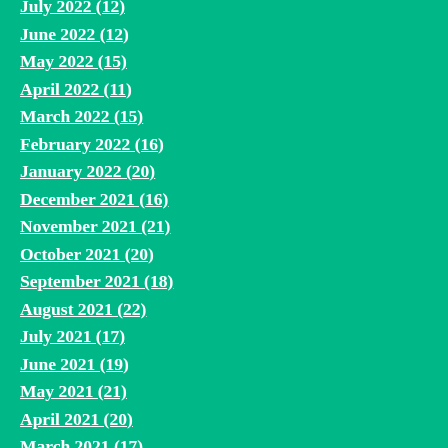July 2022 (12)
June 2022 (12)
May 2022 (15)
April 2022 (11)
March 2022 (15)
February 2022 (16)
January 2022 (20)
December 2021 (16)
November 2021 (21)
October 2021 (20)
September 2021 (18)
August 2021 (22)
July 2021 (17)
June 2021 (19)
May 2021 (21)
April 2021 (20)
March 2021 (17)